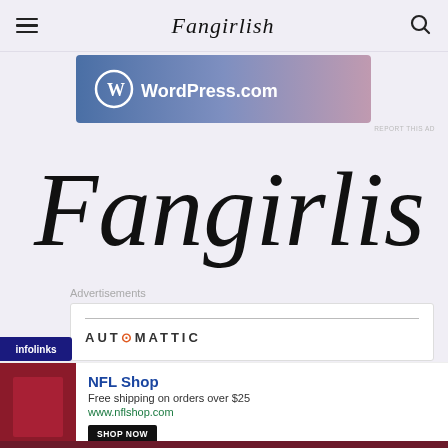Fangirlish
[Figure (logo): WordPress.com advertisement banner with blue-to-pink gradient background and WordPress logo]
REPORT THIS AD
[Figure (logo): Large Fangirlish script logo in black handwritten font on light lavender background]
Advertisements
[Figure (logo): Automattic advertisement box with horizontal line and AUTOMATTIC text in bold uppercase]
[Figure (logo): Infolinks badge overlay in dark blue]
[Figure (infographic): NFL Shop advertisement overlay: red product image, NFL Shop title, Free shipping on orders over $25, www.nflshop.com, SHOP NOW button, close X button, and purple arrow navigation button]